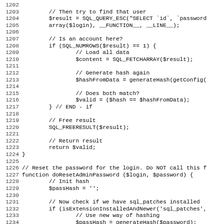[Figure (screenshot): Source code listing (PHP) with line numbers 1202-1234, showing database query, hash validation, and password reset functions.]